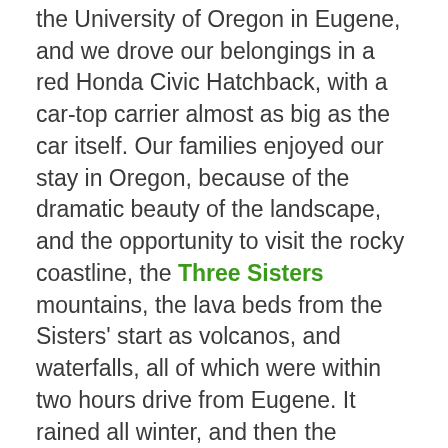the University of Oregon in Eugene, and we drove our belongings in a red Honda Civic Hatchback, with a car-top carrier almost as big as the car itself.  Our families enjoyed our stay in Oregon, because of the dramatic beauty of the landscape, and the opportunity to visit the rocky coastline, the Three Sisters mountains, the lava beds from the Sisters' start as volcanos, and waterfalls,  all of which were within two hours drive from Eugene.   It rained all winter, and then the summer was hot and dry.